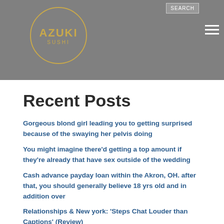Azuki Sushi
Recent Posts
Gorgeous blond girl leading you to getting surprised because of the swaying her pelvis doing
You might imagine there’d getting a top amount if they’re already that have sex outside of the wedding
Cash advance payday loan within the Akron, OH. after that, you should generally believe 18 yrs old and in addition over
Relationships & New york: ‘Steps Chat Louder than Captions’ (Review)